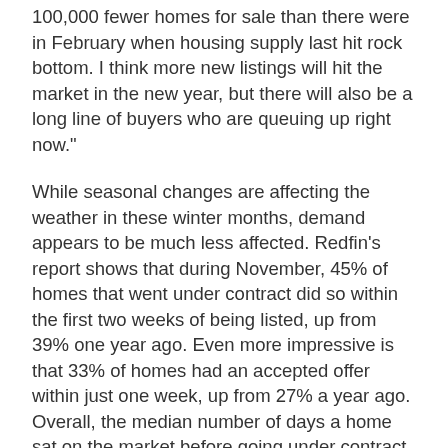100,000 fewer homes for sale than there were in February when housing supply last hit rock bottom. I think more new listings will hit the market in the new year, but there will also be a long line of buyers who are queuing up right now."
While seasonal changes are affecting the weather in these winter months, demand appears to be much less affected. Redfin's report shows that during November, 45% of homes that went under contract did so within the first two weeks of being listed, up from 39% one year ago. Even more impressive is that 33% of homes had an accepted offer within just one week, up from 27% a year ago. Overall, the median number of days a home sat on the market before going under contract was 25, compared to 31 days in Nov. 2020.